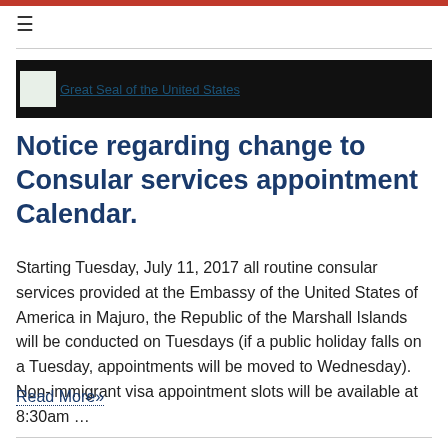≡
[Figure (illustration): Black banner with Great Seal of the United States image placeholder on left side, showing alt text 'Great Seal of the United States']
Notice regarding change to Consular services appointment Calendar.
Starting Tuesday, July 11, 2017 all routine consular services provided at the Embassy of the United States of America in Majuro, the Republic of the Marshall Islands will be conducted on Tuesdays (if a public holiday falls on a Tuesday, appointments will be moved to Wednesday). Non-immigrant visa appointment slots will be available at 8:30am …
Read More»